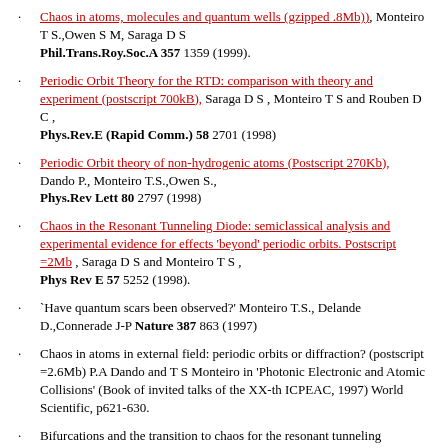Chaos in atoms, molecules and quantum wells (gzipped .8Mb)), Monteiro T S.,Owen S M, Saraga D S Phil.Trans.Roy.Soc.A 357 1359 (1999).
Periodic Orbit Theory for the RTD: comparison with theory and experiment (postscript 700kB), Saraga D S , Monteiro T S and Rouben D C , Phys.Rev.E (Rapid Comm.) 58 2701 (1998)
Periodic Orbit theory of non-hydrogenic atoms (Postscript 270Kb), Dando P., Monteiro T.S.,Owen S., Phys.Rev Lett 80 2797 (1998)
Chaos in the Resonant Tunneling Diode: semiclassical analysis and experimental evidence for effects 'beyond' periodic orbits. Postscript =2Mb , Saraga D S and Monteiro T S , Phys Rev E 57 5252 (1998).
`Have quantum scars been observed?' Monteiro T.S., Delande D.,Connerade J-P Nature 387 863 (1997)
Chaos in atoms in external field: periodic orbits or diffraction? (postscript =2.6Mb) P.A Dando and T S Monteiro in 'Photonic Electronic and Atomic Collisions' (Book of invited talks of the XX-th ICPEAC, 1997) World Scientific, p621-630.
Bifurcations and the transition to chaos for the resonant tunneling